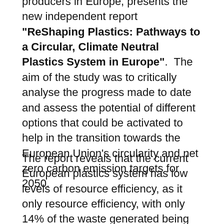producers in Europe, presents the new independent report "ReShaping Plastics: Pathways to a Circular, Climate Neutral Plastics System in Europe".  The aim of the study was to critically analyse the progress made to date and assess the potential of different options that could be activated to help in the transition towards the European Union's circularity and net zero carbon emission targets for 2050.
The report reveals that the current European plastics system has low levels of resource efficiency, as it only resource efficiency, with only 14% of the waste generated being recycled, as well as high rates of waste pollution and GHG emissions. To improve this